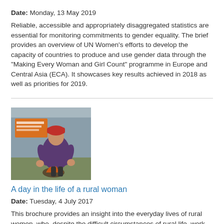Date: Monday, 13 May 2019
Reliable, accessible and appropriately disaggregated statistics are essential for monitoring commitments to gender equality. The brief provides an overview of UN Women's efforts to develop the capacity of countries to produce and use gender data through the "Making Every Woman and Girl Count" programme in Europe and Central Asia (ECA). It showcases key results achieved in 2018 as well as priorities for 2019.
[Figure (photo): Photo of a rural woman crouching outdoors, wearing a purple jacket and red hat, near a fire or stove. A book cover or document with orange text is visible in the background.]
A day in the life of a rural woman
Date: Tuesday, 4 July 2017
This brochure provides an insight into the everyday lives of rural women, who, despite the difficult circumstances of rural life, work hard to improve their lives as well as of those around them. The brochure draws together stories of strong and inspirational rural women, who, with confidence and determination, changed their